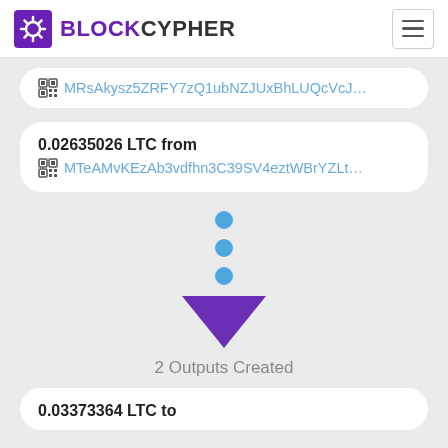BLOCKCYPHER
MRsAkysz5ZRFY7zQ1ubNZJUxBhLUQcVcJ…
0.02635026 LTC from MTeAMvKEzAb3vdfhn3C39SV4eztWBrYZLt…
[Figure (infographic): Three blue dots arranged vertically followed by a downward pointing purple triangle arrow indicating transaction flow]
2 Outputs Created
0.03373364 LTC to